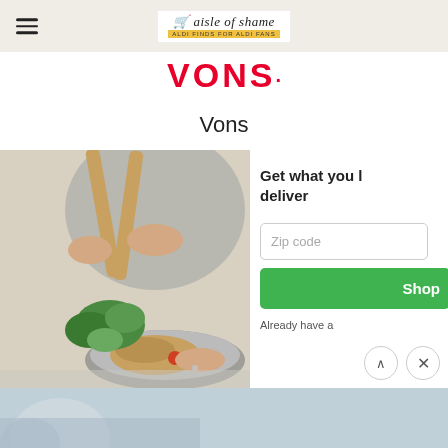aisle of shame — ALDI FINDS FOR ALDI FANS
[Figure (logo): Vons red logo text at top of page]
Vons
[Figure (photo): Person tossing a salad on a plate with greens and bread, kitchen scene]
Get what you l deliver
Zip code
Shop
Already have a
[Figure (photo): Bottom strip showing partial food/grocery image]